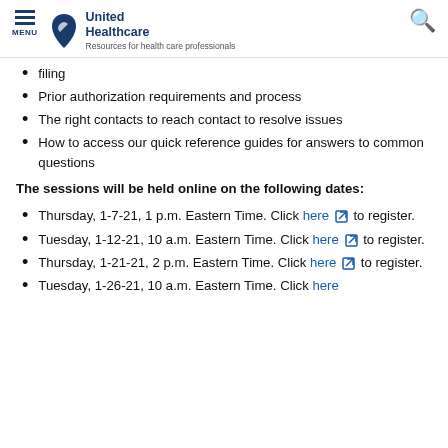MENU | United Healthcare | Resources for health care professionals
filing
Prior authorization requirements and process
The right contacts to reach contact to resolve issues
How to access our quick reference guides for answers to common questions
The sessions will be held online on the following dates:
Thursday, 1-7-21, 1 p.m. Eastern Time. Click here to register.
Tuesday, 1-12-21, 10 a.m. Eastern Time. Click here to register.
Thursday, 1-21-21, 2 p.m. Eastern Time. Click here to register.
Tuesday, 1-26-21, 10 a.m. Eastern Time. Click here